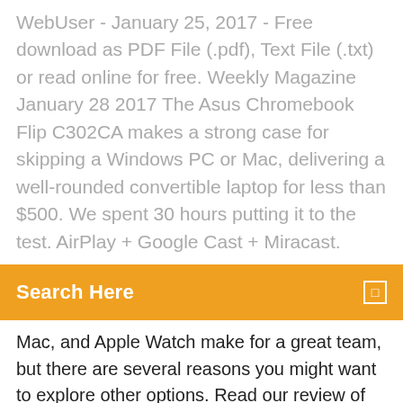WebUser - January 25, 2017 - Free download as PDF File (.pdf), Text File (.txt) or read online for free. Weekly Magazine January 28 2017 The Asus Chromebook Flip C302CA makes a strong case for skipping a Windows PC or Mac, delivering a well-rounded convertible laptop for less than $500. We spent 30 hours putting it to the test. AirPlay + Google Cast + Miracast.
Search Here
Mac, and Apple Watch make for a great team, but there are several reasons you might want to explore other options. Read our review of the Acer Chromebook R 13 to find out why this plucky little convertible could "convert" you on Chromebooks forever! Chromebook is a new type of laptop which runs on Chrome OS. This article guides you how to record audio, music or voice when using Chromebook.
If your Chromebook is Google Play Store Enabled, you can download the Android version of the Spotify app from the